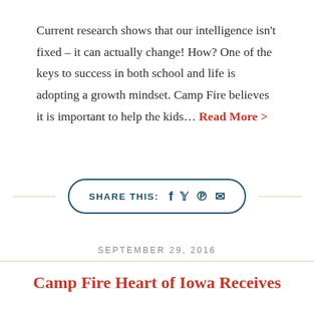Current research shows that our intelligence isn't fixed – it can actually change! How? One of the keys to success in both school and life is adopting a growth mindset. Camp Fire believes it is important to help the kids... Read More >
SHARE THIS: [facebook] [twitter] [pinterest] [email]
SEPTEMBER 29, 2016
Camp Fire Heart of Iowa Receives